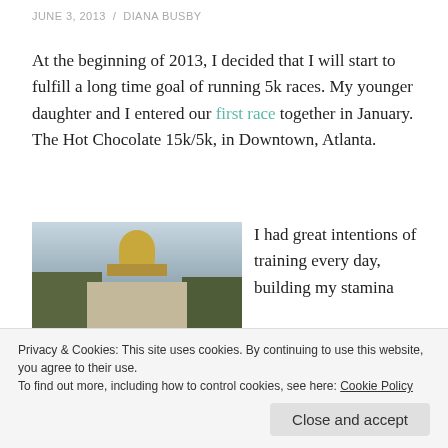JUNE 3, 2013 / DIANA BUSBY
At the beginning of 2013, I decided that I will start to fulfill a long time goal of running 5k races. My younger daughter and I entered our first race together in January. The Hot Chocolate 15k/5k, in Downtown, Atlanta.
[Figure (photo): Photo of the Georgia State Capitol building with gold dome and surrounding trees, Downtown Atlanta]
I had great intentions of training every day, building my stamina
Privacy & Cookies: This site uses cookies. By continuing to use this website, you agree to their use.
To find out more, including how to control cookies, see here: Cookie Policy
Close and accept